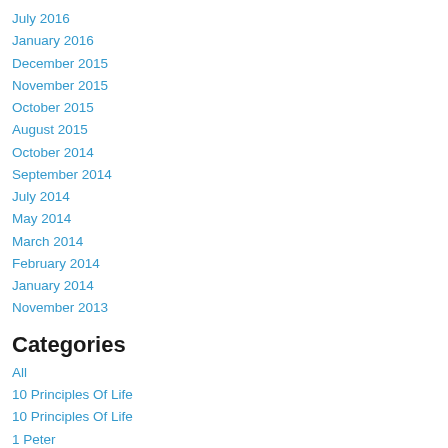July 2016
January 2016
December 2015
November 2015
October 2015
August 2015
October 2014
September 2014
July 2014
May 2014
March 2014
February 2014
January 2014
November 2013
Categories
All
10 Principles Of Life
10 Principles Of Life
1 Peter
Objections & Answers